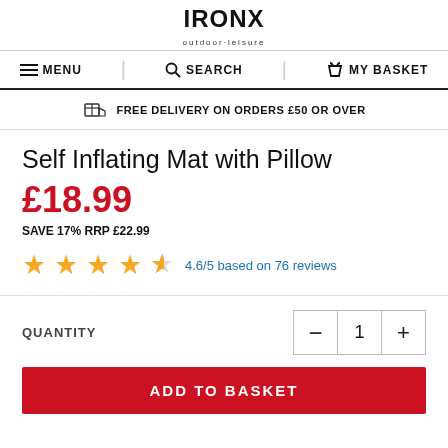outdoor-leisure
MENU | SEARCH | MY BASKET
FREE DELIVERY ON ORDERS £50 OR OVER
Self Inflating Mat with Pillow
£18.99
SAVE 17% RRP £22.99
4.6/5 based on 76 reviews
QUANTITY 1
ADD TO BASKET